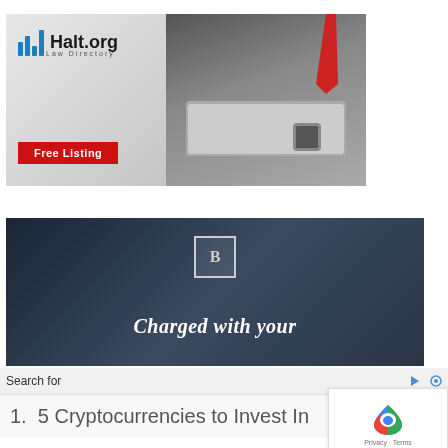[Figure (illustration): Halt.org Law Directory advertisement banner showing a person typing on a laptop with a red tie, logo with blue bar chart icon and 'Halt.org Law Directory' text, and a red 'Free Listing' button.]
[Figure (illustration): Dark blue advertisement banner with an LB icon (square with B logo) and italic bold white text reading 'Charged with your']
Search for
1.  5 Cryptocurrencies to Invest In